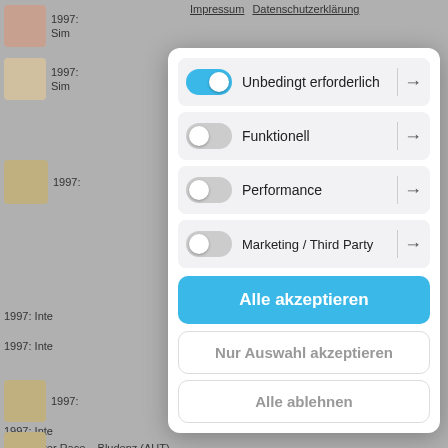[Figure (screenshot): Background website with profile images and text items partially visible behind cookie consent modal]
Impressum   Datenschutzerklärung
[Figure (infographic): Cookie consent modal with four toggle options: Unbedingt erforderlich (on), Funktionell (off), Performance (off), Marketing / Third Party (off), and three buttons: Alle akzeptieren, Nur Auswahl akzeptieren, Alle ablehnen]